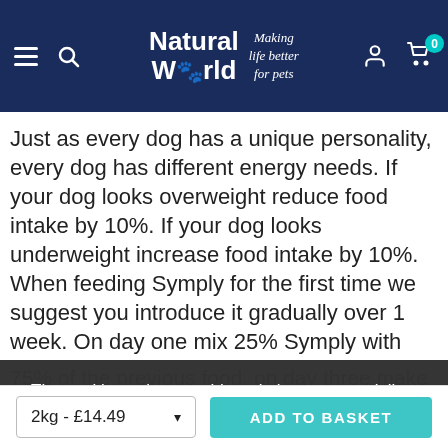Natural World — Making life better for pets
Just as every dog has a unique personality, every dog has different energy needs. If your dog looks overweight reduce food intake by 10%. If your dog looks underweight increase food intake by 10%. When feeding Symply for the first time we suggest you introduce it gradually over 1 week. On day one mix 25% Symply with 75% of the previous food, on day three make it 50% of each, day five is 75% Symply, working up to 100% Symply on day seven.
The cookie settings on this website are set to 'allow all cookies' to give you the very best experience. Please click Accept Cookies to continue to use the site.
PRIVACY POLICY   ACCEPT ✓
2kg - £14.49   ADD TO BASKET